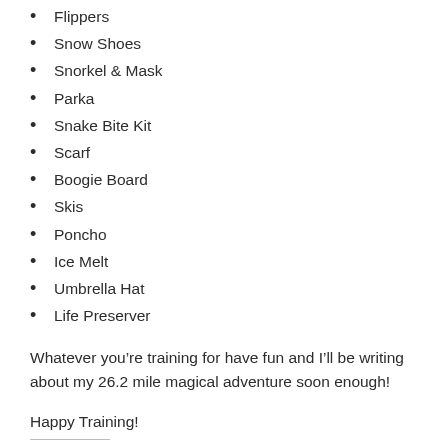Flippers
Snow Shoes
Snorkel & Mask
Parka
Snake Bite Kit
Scarf
Boogie Board
Skis
Poncho
Ice Melt
Umbrella Hat
Life Preserver
Whatever you’re training for have fun and I’ll be writing about my 26.2 mile magical adventure soon enough!
Happy Training!